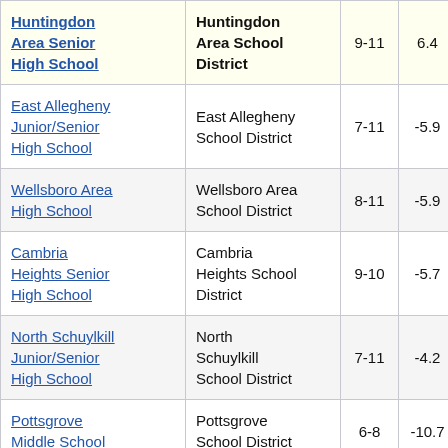| School | District | Grades | Col4 | Col5 |
| --- | --- | --- | --- | --- |
| Huntingdon Area Senior High School | Huntingdon Area School District | 9-11 | 6.4 | 2 |
| East Allegheny Junior/Senior High School | East Allegheny School District | 7-11 | -5.9 |  |
| Wellsboro Area High School | Wellsboro Area School District | 8-11 | -5.9 |  |
| Cambria Heights Senior High School | Cambria Heights School District | 9-10 | -5.7 |  |
| North Schuylkill Junior/Senior High School | North Schuylkill School District | 7-11 | -4.2 |  |
| Pottsgrove Middle School | Pottsgrove School District | 6-8 | -10.7 |  |
| Coatesville Area School District | Coatesville Area School | 3-11 | -12.5 |  |